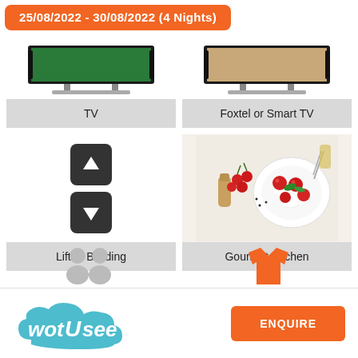25/08/2022 - 30/08/2022 (4 Nights)
[Figure (photo): Flat screen TV on silver stand]
TV
[Figure (photo): Flat screen TV on silver stand (Foxtel or Smart TV)]
Foxtel or Smart TV
[Figure (illustration): Up and down arrow buttons indicating a lift/elevator]
Lift In Building
[Figure (photo): Overhead shot of caprese salad with tomatoes, mozzarella, basil, and olive oil on a white plate]
Gourmet Kitchen
[Figure (logo): wotUsee logo in teal/blue]
ENQUIRE